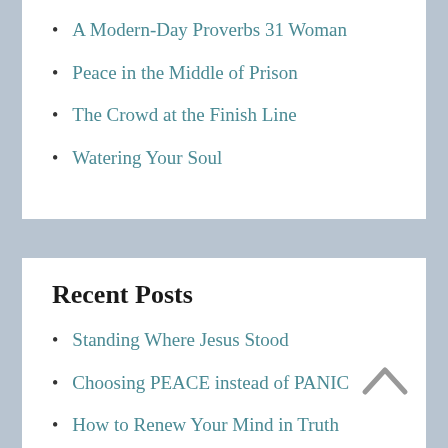A Modern-Day Proverbs 31 Woman
Peace in the Middle of Prison
The Crowd at the Finish Line
Watering Your Soul
Recent Posts
Standing Where Jesus Stood
Choosing PEACE instead of PANIC
How to Renew Your Mind in Truth
Tell Your Story!
6 Priorities You Need...